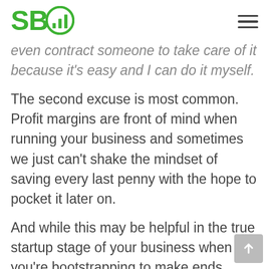SBO
even contract someone to take care of it because it's easy and I can do it myself.
The second excuse is most common. Profit margins are front of mind when running your business and sometimes we just can't shake the mindset of saving every last penny with the hope to pocket it later on.
And while this may be helpful in the true startup stage of your business when you're bootstrapping to make ends meet, it's easy to get stuck in